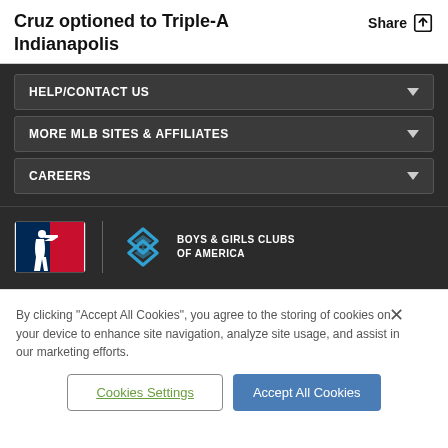Cruz optioned to Triple-A Indianapolis
HELP/CONTACT US
MORE MLB SITES & AFFILIATES
CAREERS
[Figure (logo): MLB logo (silhouette batter, red and navy blue) alongside Boys & Girls Clubs of America logo (blue interlocking diamonds icon) with text BOYS & GIRLS CLUBS OF AMERICA]
By clicking "Accept All Cookies", you agree to the storing of cookies on your device to enhance site navigation, analyze site usage, and assist in our marketing efforts.
Cookies Settings
Accept All Cookies